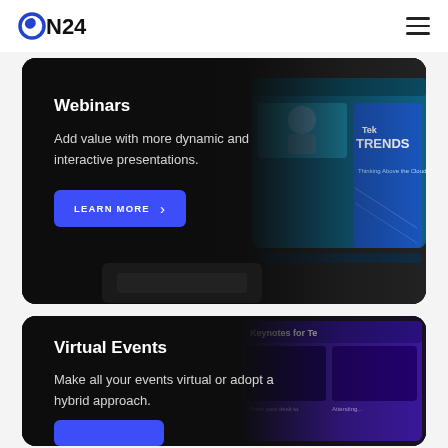ON24
[Figure (screenshot): ON24 Webinars product card: dark background with laptop showing a webinar interface (TekTRENDS branded, cloud-themed). Text overlay: 'Webinars - Add value with more dynamic and interactive presentations.' Blue 'LEARN MORE' button with right arrow chevron.]
[Figure (screenshot): ON24 Virtual Events product card: dark background with tablet/phone showing a purple-themed virtual event interface with 'Keynotes for Te...' text. Text overlay: 'Virtual Events - Make all your events virtual or adopt a hybrid approach.' Blue button partially visible at bottom.]